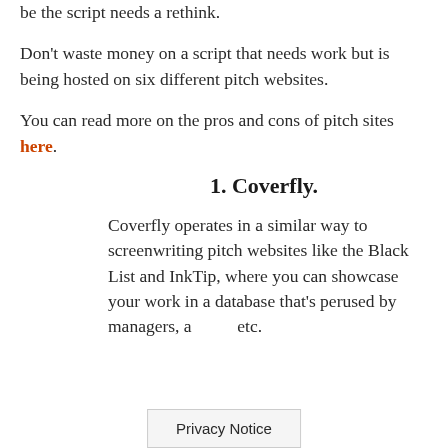be the script needs a rethink.
Don't waste money on a script that needs work but is being hosted on six different pitch websites.
You can read more on the pros and cons of pitch sites here.
1. Coverfly.
Coverfly operates in a similar way to screenwriting pitch websites like the Black List and InkTip, where you can showcase your work in a database that's perused by managers, a[gents,] etc.
Privacy Notice